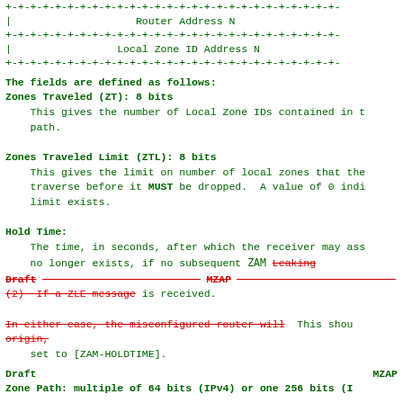[Figure (schematic): Network packet diagram showing Router Address N and Local Zone ID Address N fields with +-+-+- borders]
The fields are defined as follows:
Zones Traveled (ZT): 8 bits
    This gives the number of Local Zone IDs contained in the path.

Zones Traveled Limit (ZTL): 8 bits
    This gives the limit on number of local zones that the
    traverse before it MUST be dropped.  A value of 0 indi
    limit exists.

Hold Time:
    The time, in seconds, after which the receiver may ass
    no longer exists, if no subsequent ZAM Leaking
[Figure (schematic): Draft --- MZAP --- divider line (strikethrough red)]
(2) If a ZLE message is received.

In either case, the misconfigured router will  This shou
origin,
    set to [ZAM-HOLDTIME].
Draft                                          MZAP
Zone Path: multiple of 64 bits (IPv4) or one 256 bits (I